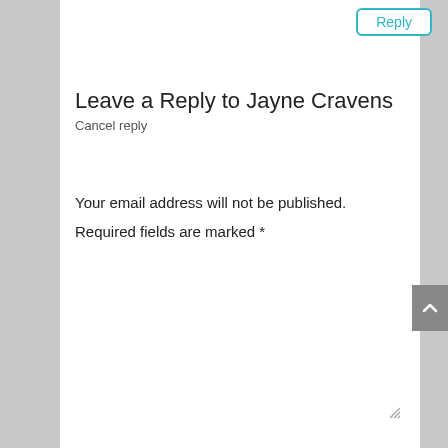[Figure (screenshot): Reply button in teal/cyan border at top right of white panel]
Leave a Reply to Jayne Cravens
Cancel reply
Your email address will not be published.
Required fields are marked *
[Figure (screenshot): Comment text area input field with placeholder text 'Comment *']
[Figure (screenshot): Name input field with placeholder text 'Name *']